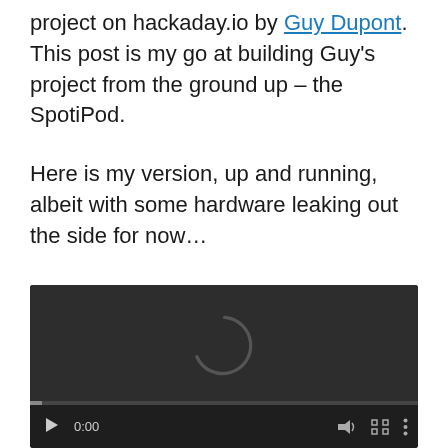project on hackaday.io by Guy Dupont. This post is my go at building Guy's project from the ground up – the SpotiPod.
Here is my version, up and running, albeit with some hardware leaking out the side for now...
[Figure (other): Embedded video player showing a dark video with a loading spinner in the center and playback controls at the bottom showing 0:00 timestamp, play button, volume, fullscreen, and options icons.]